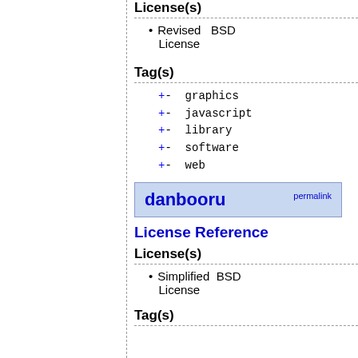License(s)
Revised BSD License
Tag(s)
+- graphics
+- javascript
+- library
+- software
+- web
danbooru permalink
License Reference
License(s)
Simplified BSD License
Tag(s)